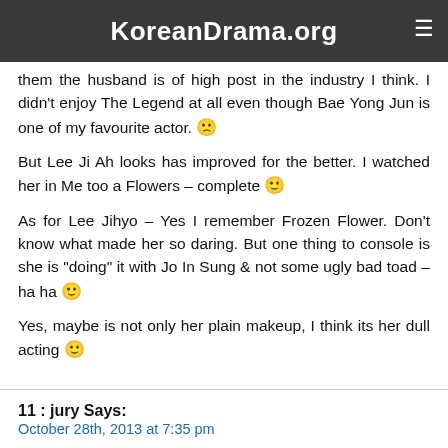KoreanDrama.org
them the husband is of high post in the industry I think. I didn't enjoy The Legend at all even though Bae Yong Jun is one of my favourite actor. 🙁
But Lee Ji Ah looks has improved for the better. I watched her in Me too a Flowers – complete 🙂
As for Lee Jihyo – Yes I remember Frozen Flower. Don't know what made her so daring. But one thing to console is she is "doing" it with Jo In Sung & not some ugly bad toad – ha ha 🙂
Yes, maybe is not only her plain makeup, I think its her dull acting 🙂
11 : jury Says:
October 28th, 2013 at 7:35 pm
@10 OKOKOK
I saw you in Golden Rainbow thread lol. I like jung ilwoo & UEE but I more interested with TWWMTT's story.